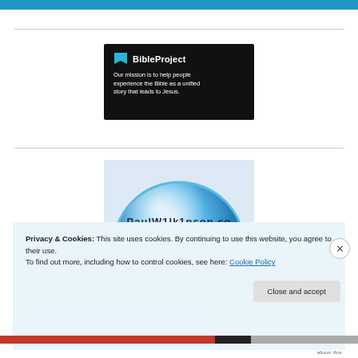[Figure (logo): BibleProject logo and tagline on black background. Cyan bookmark/speech-bubble icon, bold white text 'BibleProject', and white tagline: 'Our mission is to help people experience the Bible as a unified story that leads to Jesus.']
[Figure (photo): Partial image of a shiny blue glass globe/sphere, cropped. Text visible along the bottom curve reading 'PaulWilkinson.co' (partially visible).]
Privacy & Cookies: This site uses cookies. By continuing to use this website, you agree to their use.
To find out more, including how to control cookies, see here: Cookie Policy
Close and accept